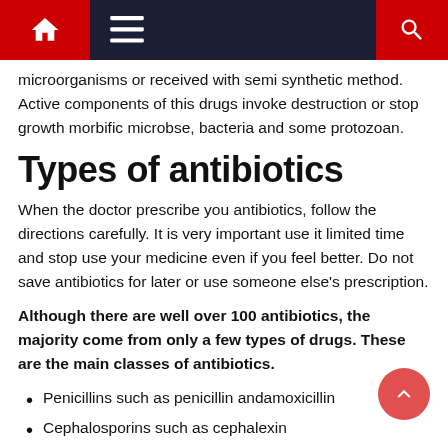Navigation bar with home, menu, and search icons
microorganisms or received with semi synthetic method. Active components of this drugs invoke destruction or stop growth morbific microbse, bacteria and some protozoan.
Types of antibiotics
When the doctor prescribe you antibiotics, follow the directions carefully. It is very important use it limited time and stop use your medicine even if you feel better. Do not save antibiotics for later or use someone else’s prescription.
Although there are well over 100 antibiotics, the majority come from only a few types of drugs. These are the main classes of antibiotics.
Penicillins such as penicillin andamoxicillin
Cephalosporins such as cephalexin